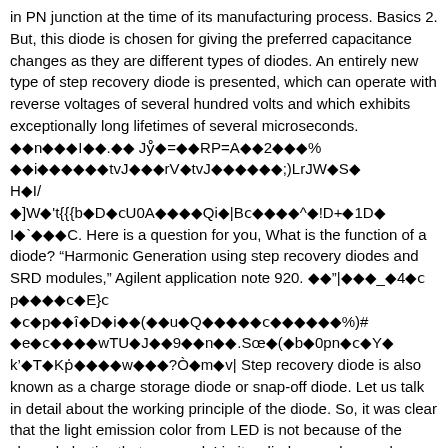in PN junction at the time of its manufacturing process. Basics 2. But, this diode is chosen for giving the preferred capacitance changes as they are different types of diodes. An entirely new type of step recovery diode is presented, which can operate with reverse voltages of several hundred volts and which exhibits exceptionally long lifetimes of several microseconds. [corrupted text] Here is a question for you, What is the function of a diode? "Harmonic Generation using step recovery diodes and SRD modules," Agilent application note 920. [corrupted text] Step recovery diode is also known as a charge storage diode or snap-off diode. Let us talk in detail about the working principle of the diode. So, it was clear that the light emission color from LED is not because of the cloured plastics that are used. Limiter diodes can be used as voltage limiters or in voltage limiter circuits. There are extensive applications of a Zener diode and few of those are: A few of the other types of diode crucially implemented in various applications are as below: Every diode has its own benefits and applications.